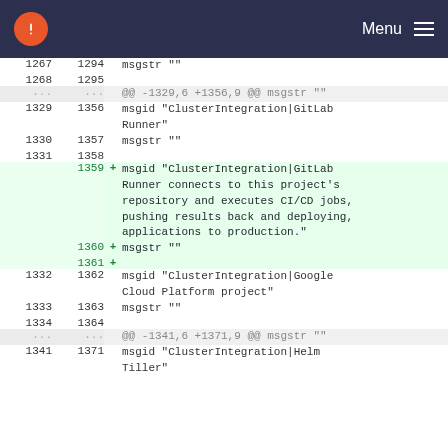Menu
| old | new | sign | code |
| --- | --- | --- | --- |
| 1267 | 1294 |  | msgstr "" |
| 1268 | 1295 |  |  |
| ... | ... |  | @@ -1329,6 +1356,9 @@ msgstr "" |
| 1329 | 1356 |  | msgid "ClusterIntegration|GitLab Runner" |
| 1330 | 1357 |  | msgstr "" |
| 1331 | 1358 |  |  |
|  | 1359 | + | msgid "ClusterIntegration|GitLab Runner connects to this project's repository and executes CI/CD jobs, pushing results back and deploying, applications to production." |
|  | 1360 | + | msgstr "" |
|  | 1361 | + |  |
| 1332 | 1362 |  | msgid "ClusterIntegration|Google Cloud Platform project" |
| 1333 | 1363 |  | msgstr "" |
| 1334 | 1364 |  |  |
| ... | ... |  | @@ -1341,6 +1371,9 @@ msgstr "" |
| 1341 | 1371 |  | msgid "ClusterIntegration|Helm Tiller" |